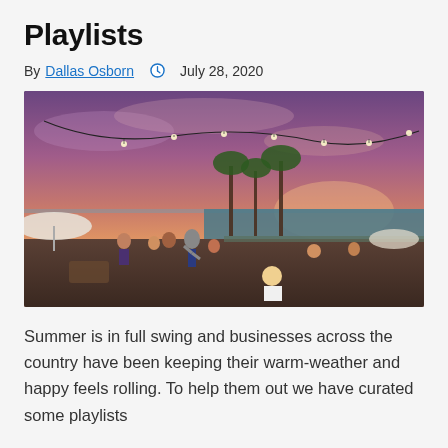Playlists
By Dallas Osborn  July 28, 2020
[Figure (photo): Outdoor beach club/pool party at sunset with string lights, palm trees, people in and around a pool overlooking the ocean with a purple-orange sky]
Summer is in full swing and businesses across the country have been keeping their warm-weather and happy feels rolling. To help them out we have curated some playlists